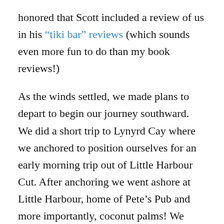honored that Scott included a review of us in his “tiki bar” reviews (which sounds even more fun to do than my book reviews!)
As the winds settled, we made plans to depart to begin our journey southward.  We did a short trip to Lynyrd Cay where we anchored to position ourselves for an early morning trip out of Little Harbour Cut. After anchoring we went ashore at Little Harbour, home of Pete’s Pub and more importantly, coconut palms! We obtained several coconuts during our walk, which meant a new project for the boys! If you’ve never had a coconut fresh off a tree, it’s not all that easy to get into! A small arsenal of machete